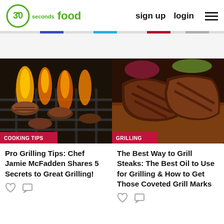30 seconds food — sign up  login
[Figure (photo): Burgers grilling over open flames on a barbecue grill with COOKING TIPS tag]
Pro Grilling Tips: Chef Jamie McFadden Shares 5 Secrets to Great Grilling!
[Figure (photo): Grilled steaks on a wooden cutting board with grill marks and vegetables, with GRILLING tag]
The Best Way to Grill Steaks: The Best Oil to Use for Grilling & How to Get Those Coveted Grill Marks